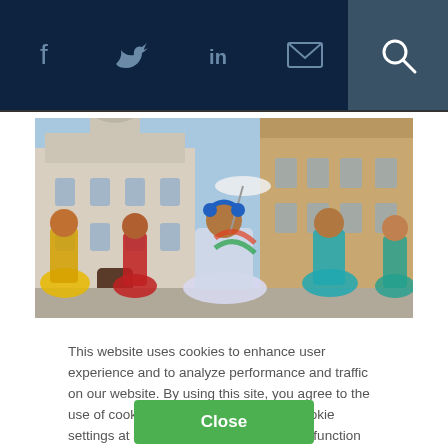Navigation bar with social icons: Facebook, Twitter, LinkedIn, Email, Search
[Figure (photo): Colorful festival scene with women in bright traditional costumes dancing in front of historic European-style buildings. The central dancer holds a white parasol.]
This website uses cookies to enhance user experience and to analyze performance and traffic on our website. By using this site, you agree to the use of cookies. You may change your cookie settings at any time, but the site may not function properly. Cookie Policy
Close